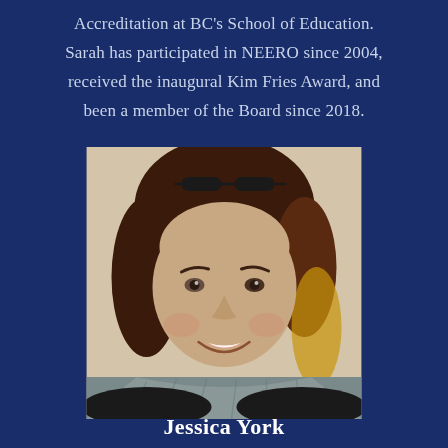Accreditation at BC's School of Education. Sarah has participated in NEERO since 2004, received the inaugural Kim Fries Award, and been a member of the Board since 2018.
[Figure (photo): Portrait photo of a smiling woman with dark auburn hair pulled back, sunglasses on top of her head, wearing a grey scarf, against a light beige background.]
Jessica York